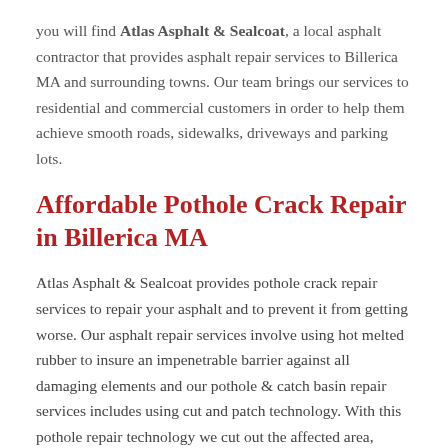you will find Atlas Asphalt & Sealcoat, a local asphalt contractor that provides asphalt repair services to Billerica MA and surrounding towns. Our team brings our services to residential and commercial customers in order to help them achieve smooth roads, sidewalks, driveways and parking lots.
Affordable Pothole Crack Repair in Billerica MA
Atlas Asphalt & Sealcoat provides pothole crack repair services to repair your asphalt and to prevent it from getting worse. Our asphalt repair services involve using hot melted rubber to insure an impenetrable barrier against all damaging elements and our pothole & catch basin repair services includes using cut and patch technology. With this pothole repair technology we cut out the affected area, replacing the damaged asphalt prior to seal coating, making the finished project a seamless repair.
At Atlas Asphalt we also ensure customers of the best...